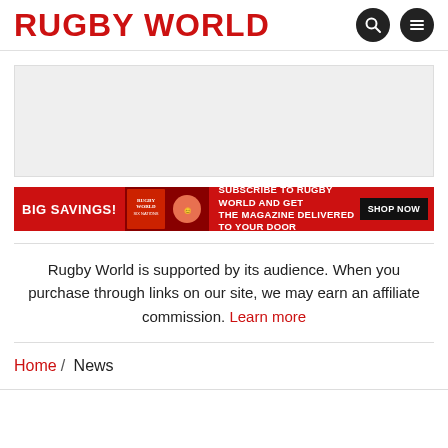RUGBY WORLD
[Figure (other): Gray advertisement placeholder box]
[Figure (other): Red promotional banner: BIG SAVINGS! Subscribe to Rugby World and get the magazine delivered to your door. SHOP NOW]
Rugby World is supported by its audience. When you purchase through links on our site, we may earn an affiliate commission. Learn more
Home / News